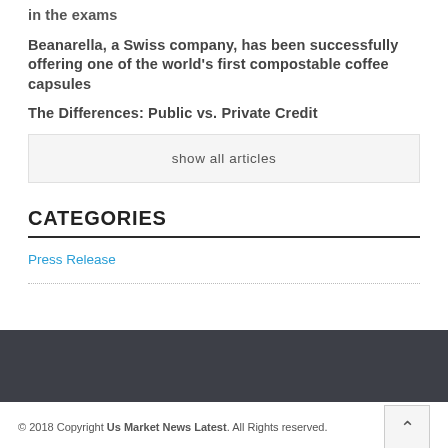in the exams
Beanarella, a Swiss company, has been successfully offering one of the world's first compostable coffee capsules
The Differences: Public vs. Private Credit
show all articles
CATEGORIES
Press Release
© 2018 Copyright Us Market News Latest. All Rights reserved.